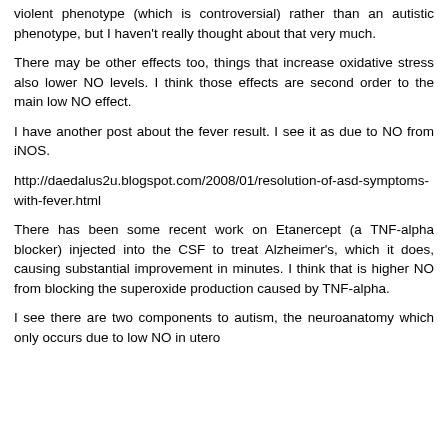violent phenotype (which is controversial) rather than an autistic phenotype, but I haven't really thought about that very much.
There may be other effects too, things that increase oxidative stress also lower NO levels. I think those effects are second order to the main low NO effect.
I have another post about the fever result. I see it as due to NO from iNOS.
http://daedalus2u.blogspot.com/2008/01/resolution-of-asd-symptoms-with-fever.html
There has been some recent work on Etanercept (a TNF-alpha blocker) injected into the CSF to treat Alzheimer's, which it does, causing substantial improvement in minutes. I think that is higher NO from blocking the superoxide production caused by TNF-alpha.
I see there are two components to autism, the neuroanatomy which only occurs due to low NO in utero